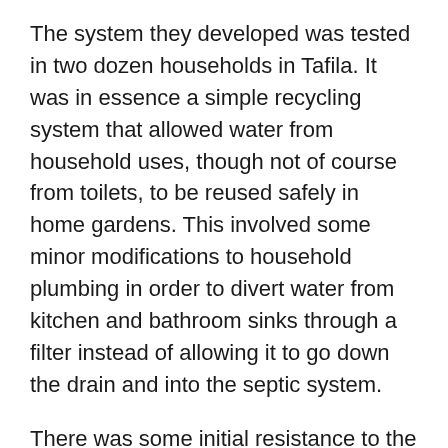The system they developed was tested in two dozen households in Tafila. It was in essence a simple recycling system that allowed water from household uses, though not of course from toilets, to be reused safely in home gardens. This involved some minor modifications to household plumbing in order to divert water from kitchen and bathroom sinks through a filter instead of allowing it to go down the drain and into the septic system.
There was some initial resistance to the idea of using greywater, both among householders and local officials. Some were skeptical, unconvinced that the system would work, or afraid that it would be too expensive and hard to maintain. Others worried about odours and mosquitoes. But once the system was